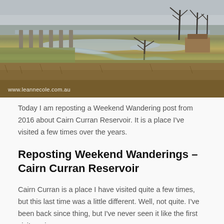[Figure (photo): Landscape photograph of Cairn Curran Reservoir showing dry brown grassland in foreground, a winding water channel, old stone bridge pillars, bare skeletal trees, and a grey overcast sky. Watermark reads www.leannecole.com.au]
Today I am reposting a Weekend Wandering post from 2016 about Cairn Curran Reservoir. It is a place I’ve visited a few times over the years.
Reposting Weekend Wanderings – Cairn Curran Reservoir
Cairn Curran is a place I have visited quite a few times, but this last time was a little different. Well, not quite. I’ve been back since thing, but I’ve never seen it like the first visit again